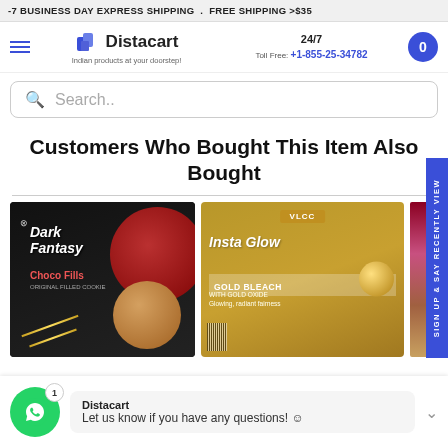-7 BUSINESS DAY EXPRESS SHIPPING . FREE SHIPPING >$35
[Figure (logo): Distacart logo with shopping bag icon and tagline 'Indian products at your doorstep!']
24/7 Toll Free: +1-855-25-34782
Search..
Customers Who Bought This Item Also Bought
[Figure (photo): Dark Fantasy Choco Fills cookie box in dark packaging with a cookie and red circle design]
[Figure (photo): VLCC Insta Glow Gold Bleach product box in gold/yellow packaging]
[Figure (photo): Partially visible dark red product on the right side]
Distacart
Let us know if you have any questions! 😊